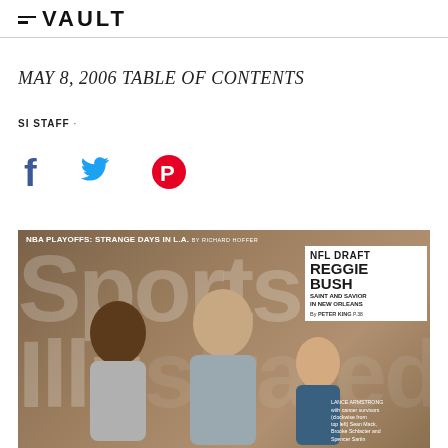VAULT
MAY 8, 2006 TABLE OF CONTENTS
SI STAFF ·
[Figure (infographic): Social sharing icons: Facebook (f), Twitter (bird), Pinterest (P)]
[Figure (photo): Sports Illustrated magazine cover from May 8, 2006. Headline: NBA PLAYOFFS: STRANGE DAYS IN L.A. BY RICHARD HOFFER. NFL DRAFT callout box: REGGIE BUSH SAINT AND SAVIOR IN NEW ORLEANS BY PETER KING P.38. Sports Illustrated logo text overlaid. Lance Armstrong with cancer survivors (clockwise from top left) Sean Mack, Brooke Schlacter and Spencer Sartin.]
LANCE ARMSTRONG with cancer survivors (clockwise from top left) Sean Mack, Brooke Schlacter and Spencer Sartin